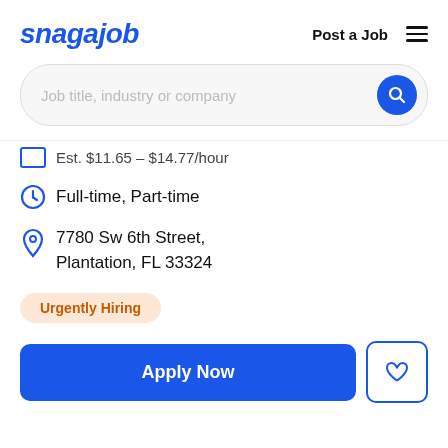snagajob — Post a Job
Job title, industry or company
Est. $11.65 - $14.77/hour
Full-time, Part-time
7780 Sw 6th Street, Plantation, FL 33324
Urgently Hiring
Apply Now